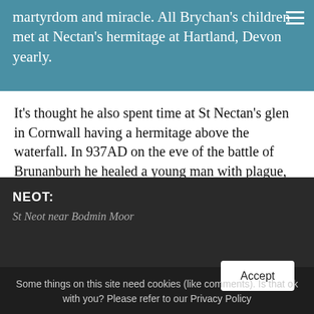martyrdom and miracle. All Brychan's children met at Nectan's hermitage at Hartland, Devon yearly.
It's thought he also spent time at St Nectan's glen in Cornwall having a hermitage above the waterfall. In 937AD on the eve of the battle of Brunanburh he healed a young man with plague, appearing to him in a vision, and laying hands on his afflicted body. Miracles happened at the place of his martyrdom.
NEOT: Some things on this site need cookies (like comments). Is that ok with you? Please refer to our Privacy Policy   Accept   St Neot near Bodmin Moor